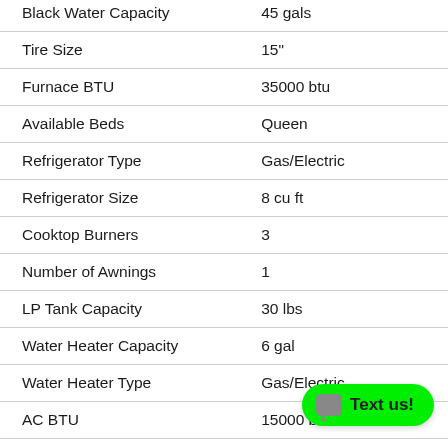| Specification | Value |
| --- | --- |
| Black Water Capacity | 45 gals |
| Tire Size | 15" |
| Furnace BTU | 35000 btu |
| Available Beds | Queen |
| Refrigerator Type | Gas/Electric |
| Refrigerator Size | 8 cu ft |
| Cooktop Burners | 3 |
| Number of Awnings | 1 |
| LP Tank Capacity | 30 lbs |
| Water Heater Capacity | 6 gal |
| Water Heater Type | Gas/Electric |
| AC BTU | 15000 btu |
| TV Info | LP |
| Awning Info | 15 w/LED Lights |